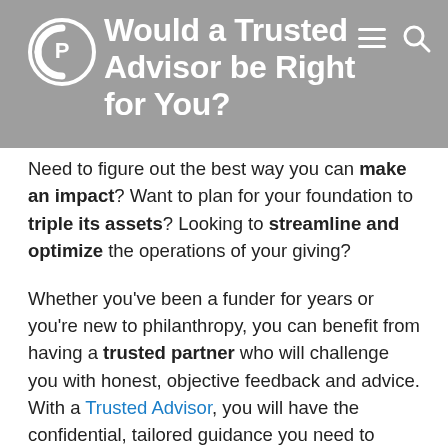Would a Trusted Advisor be Right for You?
Need to figure out the best way you can make an impact? Want to plan for your foundation to triple its assets? Looking to streamline and optimize the operations of your giving?
Whether you’ve been a funder for years or you’re new to philanthropy, you can benefit from having a trusted partner who will challenge you with honest, objective feedback and advice. With a Trusted Advisor, you will have the confidential, tailored guidance you need to navigate every aspect